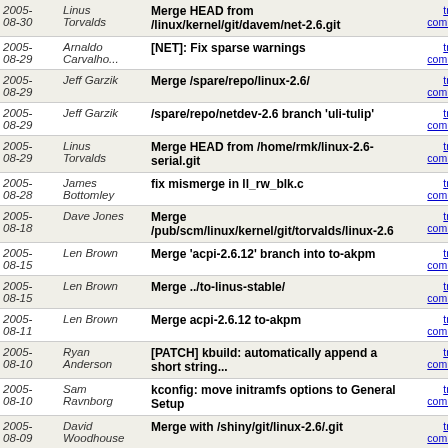| Date | Author | Message | Links |
| --- | --- | --- | --- |
| 2005-08-30 | Linus Torvalds | Merge HEAD from /linux/kernel/git/davem/net-2.6.git | tree | commitd |
| 2005-08-29 | Arnaldo Carvalho... | [NET]: Fix sparse warnings | tree | commitd |
| 2005-08-29 | Jeff Garzik | Merge /spare/repo/linux-2.6/ | tree | commitd |
| 2005-08-29 | Jeff Garzik | /spare/repo/netdev-2.6 branch 'uli-tulip' | tree | commitd |
| 2005-08-29 | Linus Torvalds | Merge HEAD from /home/rmk/linux-2.6-serial.git | tree | commitd |
| 2005-08-28 | James Bottomley | fix mismerge in ll_rw_blk.c | tree | commitd |
| 2005-08-18 | Dave Jones | Merge /pub/scm/linux/kernel/git/torvalds/linux-2.6 | tree | commitd |
| 2005-08-15 | Len Brown | Merge 'acpi-2.6.12' branch into to-akpm | tree | commitd |
| 2005-08-15 | Len Brown | Merge ../to-linus-stable/ | tree | commitd |
| 2005-08-11 | Len Brown | Merge acpi-2.6.12 to-akpm | tree | commitd |
| 2005-08-10 | Ryan Anderson | [PATCH] kbuild: automatically append a short string... | tree | commitd |
| 2005-08-10 | Sam Ravnborg | kconfig: move initramfs options to General Setup | tree | commitd |
| 2005-08-09 | David Woodhouse | Merge with /shiny/git/linux-2.6/.git | tree | commitd |